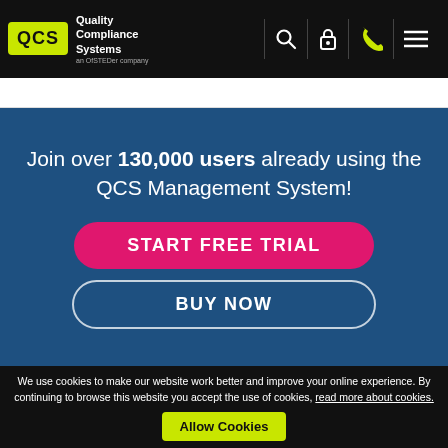QCS Quality Compliance Systems — an OfSTEDer company
Join over 130,000 users already using the QCS Management System!
START FREE TRIAL
BUY NOW
We use cookies to make our website work better and improve your online experience. By continuing to browse this website you accept the use of cookies, read more about cookies. Allow Cookies